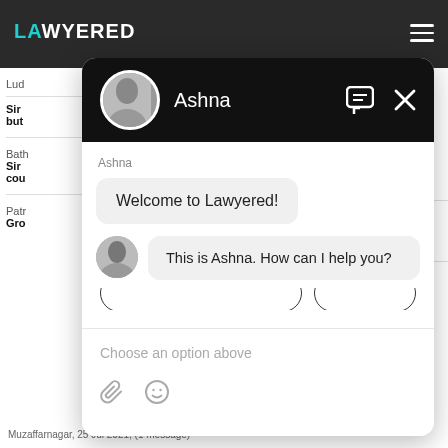[Figure (screenshot): Lawyered website screenshot with a chat widget overlay. The chat widget shows an agent named Ashna with two messages: 'Welcome to Lawyered!' and 'This is Ashna. How can I help you?' along with a 'Choose an option above' input area.]
Ashna
Welcome to Lawyered!
This is Ashna. How can I help you?
Choose an option above